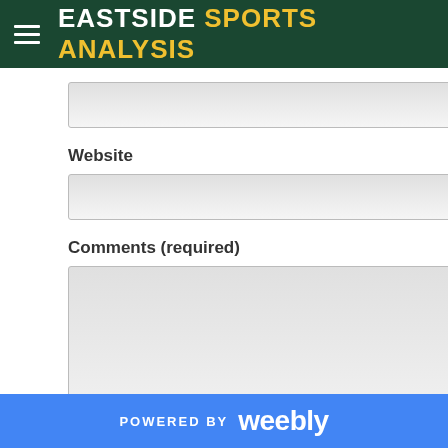EASTSIDE SPORTS ANALYSIS
[Figure (screenshot): Text input field (first, unlabeled)]
Website
[Figure (screenshot): Text input field for Website]
Comments (required)
[Figure (screenshot): Textarea for Comments]
Notify me of new comments to this post by email
Submit
POWERED BY weebly